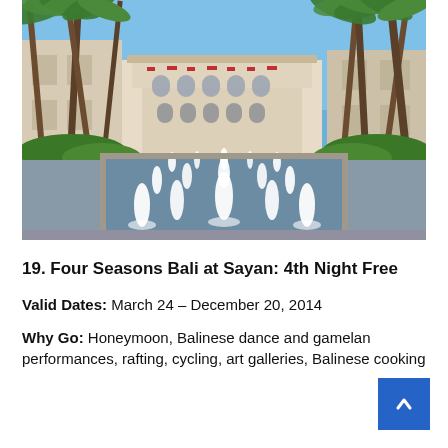[Figure (photo): Resort courtyard with palm trees, a long rectangular reflecting pool with multiple water fountains, lush greenery on the sides, and a multi-story Mediterranean-style hotel building in the background under a clear blue sky.]
19. Four Seasons Bali at Sayan: 4th Night Free
Valid Dates: March 24 – December 20, 2014
Why Go: Honeymoon, Balinese dance and gamelan performances, rafting, cycling, art galleries, Balinese cooking